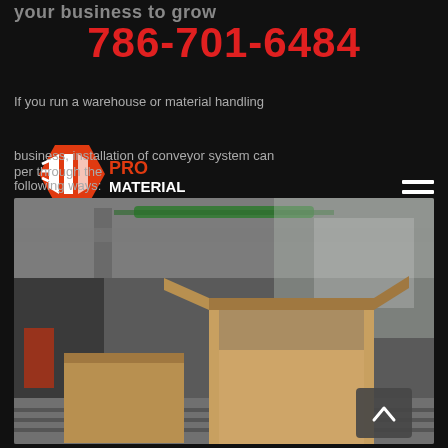your business to grow
786-701-6484
If you run a warehouse or material handling
[Figure (logo): Pro Material Handling logo — orange hexagon with white arrow/bar symbols and bold text PRO MATERIAL HANDLING]
business, installation of conveyor system can
per through the following ways:
[Figure (photo): Warehouse interior with cardboard boxes on a conveyor system, blurred industrial ceiling and machinery in background]